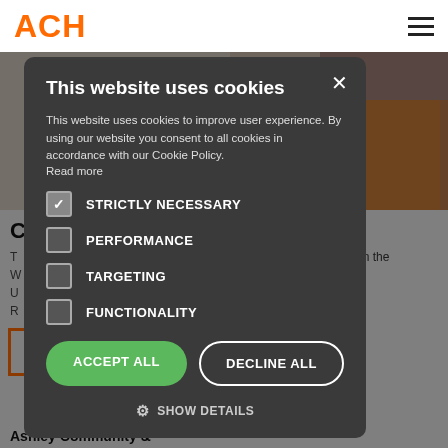[Figure (screenshot): Website header with ACH logo in orange on left and hamburger menu icon on right, with faded background showing clothing/fashion imagery]
This website uses cookies
This website uses cookies to improve user experience. By using our website you consent to all cookies in accordance with our Cookie Policy. Read more
STRICTLY NECESSARY (checked)
PERFORMANCE
TARGETING
FUNCTIONALITY
ACCEPT ALL | DECLINE ALL
SHOW DETAILS
Ashley Community &